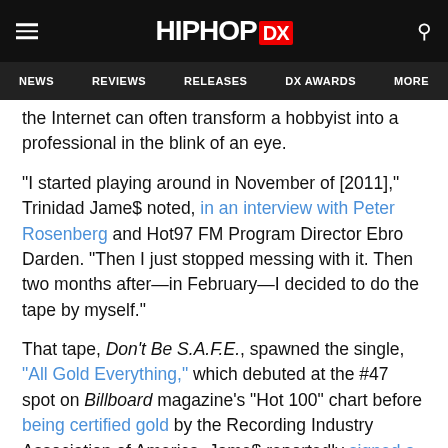HIPHOP DX — NEWS | REVIEWS | RELEASES | DX AWARDS | MORE
the Internet can often transform a hobbyist into a professional in the blink of an eye.
"I started playing around in November of [2011]," Trinidad Jame$ noted, in an interview with Peter Rosenberg and Hot97 FM Program Director Ebro Darden. "Then I just stopped messing with it. Then two months after—in February—I decided to do the tape by myself."
That tape, Don't Be S.A.F.E., spawned the single, "All Gold Everything," which debuted at the #47 spot on Billboard magazine's "Hot 100" chart before being certified gold by the Recording Industry Association of America. Jame$ reportedly signed a $2 million deal with the iconic Def Jam Records. Yet it all comes out of a more noble...